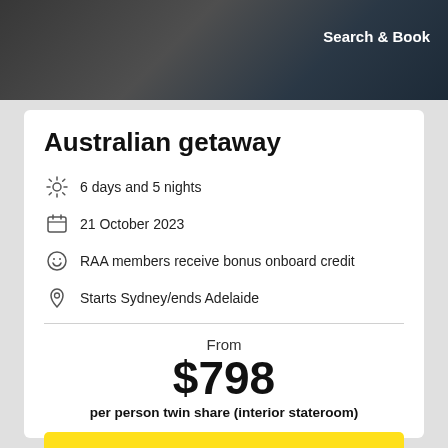[Figure (photo): Dark header photo of people, semi-transparent overlay with 'Search & Book' text in white]
Search & Book
Australian getaway
6 days and 5 nights
21 October 2023
RAA members receive bonus onboard credit
Starts Sydney/ends Adelaide
From
$798
per person twin share (interior stateroom)
Enquire now